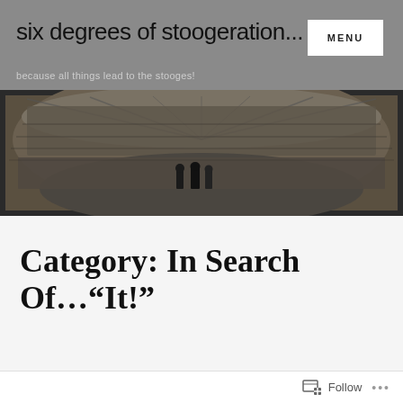six degrees of stoogeration...
because all things lead to the stooges!
MENU
[Figure (photo): Black and white panoramic photograph of a packed stadium with figures standing on the field]
Category: In Search Of…“It!”
Follow ...